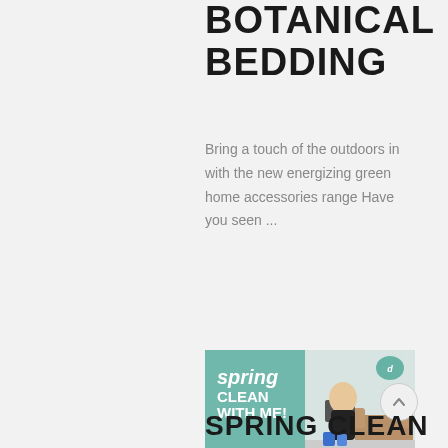BOTANICAL BEDDING
Bring a touch of the outdoors in with the new energizing green home accessories range Have you seen ...
more
[Figure (photo): Spring Clean With Me thumbnail image showing a woman with cleaning supplies and the text 'spring CLEAN WITH ME!' overlaid on a teal background]
SPRING CLEAN